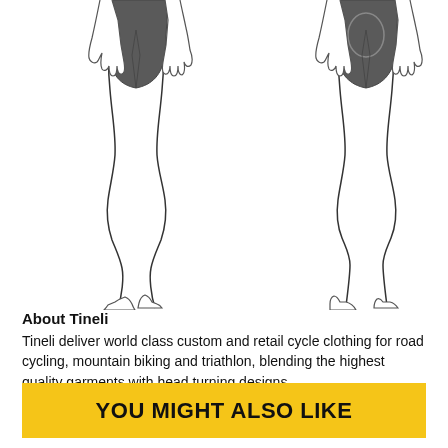[Figure (illustration): Line drawings of two cycling short figures - front view and back view - showing dark grey padded cycling shorts on human body outlines with legs visible]
About Tineli
Tineli deliver world class custom and retail cycle clothing for road cycling, mountain biking and triathlon, blending the highest quality garments with head turning designs.
YOU MIGHT ALSO LIKE